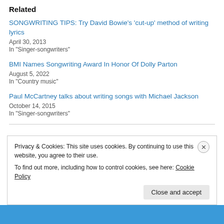Related
SONGWRITING TIPS: Try David Bowie's 'cut-up' method of writing lyrics
April 30, 2013
In "Singer-songwriters"
BMI Names Songwriting Award In Honor Of Dolly Parton
August 5, 2022
In "Country music"
Paul McCartney talks about writing songs with Michael Jackson
October 14, 2015
In "Singer-songwriters"
Privacy & Cookies: This site uses cookies. By continuing to use this website, you agree to their use.
To find out more, including how to control cookies, see here: Cookie Policy
Close and accept